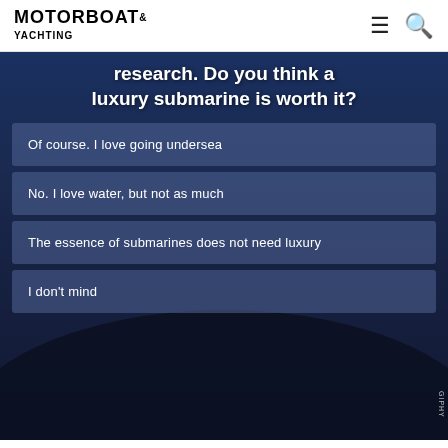MOTORBOAT & YACHTING
research. Do you think a luxury submarine is worth it?
Of course. I love going undersea
No. I love water, but not as much
The essence of submarines does not need luxury
I don't mind